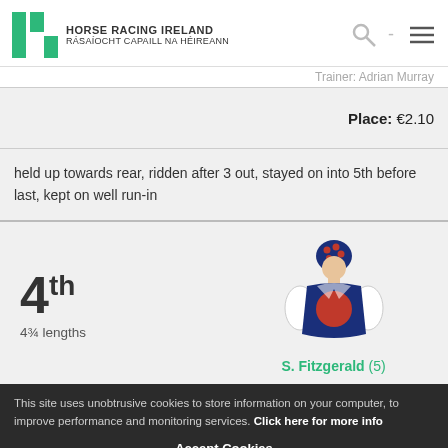HORSE RACING IRELAND / RÁSAÍOCHT CAPAILL NA HÉIREANN
Trainer: Adrian Murray
Place: €2.10
held up towards rear, ridden after 3 out, stayed on into 5th before last, kept on well run-in
4th
4¾ lengths
[Figure (illustration): Jockey silks illustration: navy blue jacket with red circular disc on front, white sleeves, navy cap with red spots]
S. Fitzgerald (5)
This site uses unobtrusive cookies to store information on your computer, to improve performance and monitoring services. Click here for more info
Accept Cookies